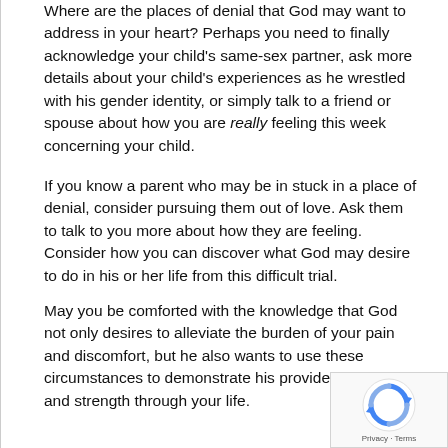Where are the places of denial that God may want to address in your heart? Perhaps you need to finally acknowledge your child's same-sex partner, ask more details about your child's experiences as he wrestled with his gender identity, or simply talk to a friend or spouse about how you are really feeling this week concerning your child.
If you know a parent who may be in stuck in a place of denial, consider pursuing them out of love. Ask them to talk to you more about how they are feeling. Consider how you can discover what God may desire to do in his or her life from this difficult trial.
May you be comforted with the knowledge that God not only desires to alleviate the burden of your pain and discomfort, but he also wants to use these circumstances to demonstrate his providential care and strength through your life.
[Figure (other): reCAPTCHA badge with spinning arrows logo and Privacy - Terms text]